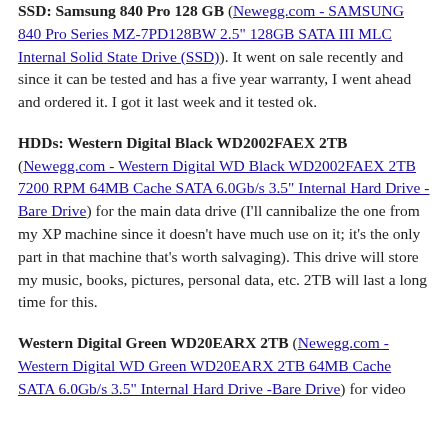SSD: Samsung 840 Pro 128 GB (Newegg.com - SAMSUNG 840 Pro Series MZ-7PD128BW 2.5" 128GB SATA III MLC Internal Solid State Drive (SSD)). It went on sale recently and since it can be tested and has a five year warranty, I went ahead and ordered it. I got it last week and it tested ok.
HDDs: Western Digital Black WD2002FAEX 2TB (Newegg.com - Western Digital WD Black WD2002FAEX 2TB 7200 RPM 64MB Cache SATA 6.0Gb/s 3.5" Internal Hard Drive -Bare Drive) for the main data drive (I'll cannibalize the one from my XP machine since it doesn't have much use on it; it's the only part in that machine that's worth salvaging). This drive will store my music, books, pictures, personal data, etc. 2TB will last a long time for this.
Western Digital Green WD20EARX 2TB (Newegg.com - Western Digital WD Green WD20EARX 2TB 64MB Cache SATA 6.0Gb/s 3.5" Internal Hard Drive -Bare Drive) for video